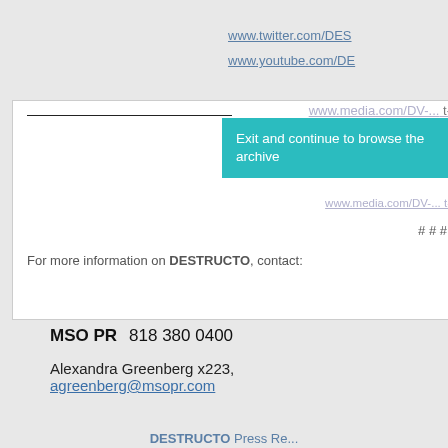www.twitter.com/DES...
www.youtube.com/DE...
Exit and continue to browse the archive
MSO PR Press Re...
www.media.com/DV-... t-
# # #
For more information on DESTRUCTO, contact:
MSO PR   818 380 0400
Alexandra Greenberg x223, agreenberg@msopr.com
DESTRUCTO Press Re...